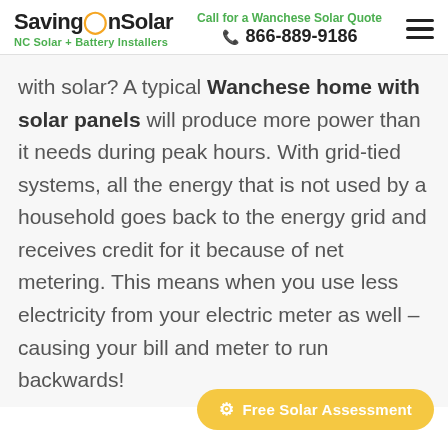SavingOnSolar — NC Solar + Battery Installers | Call for a Wanchese Solar Quote | 866-889-9186
with solar? A typical Wanchese home with solar panels will produce more power than it needs during peak hours. With grid-tied systems, all the energy that is not used by a household goes back to the energy grid and receives credit for it because of net metering. This means when you use less electricity from your electric meter as well – causing your bill and meter to run backwards!
Free Solar Assessment